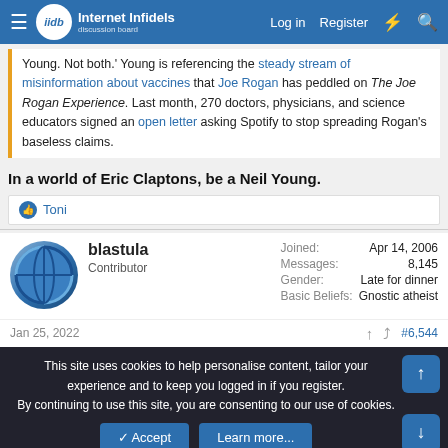Internet Infidels — Log in | Register
Young. Not both.' Young is referencing the steady stream of misinformation about vaccines that Joe Rogan has peddled on The Joe Rogan Experience. Last month, 270 doctors, physicians, and science educators signed an open letter asking Spotify to stop spreading Rogan's baseless claims.
In a world of Eric Claptons, be a Neil Young.
👍 Toni
blastula
Contributor
Joined: Apr 14, 2006
Messages: 8,145
Gender: Late for dinner
Basic Beliefs: Gnostic atheist
Jan 25, 2022  #6,544
This site uses cookies to help personalise content, tailor your experience and to keep you logged in if you register.
By continuing to use this site, you are consenting to our use of cookies.